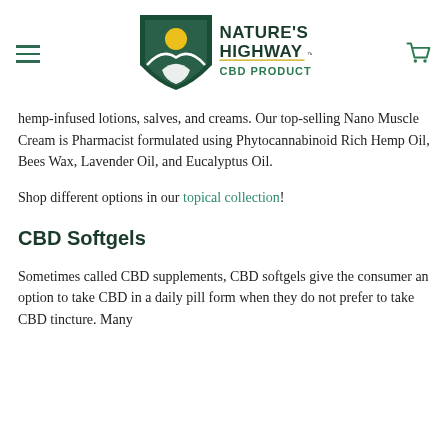[Figure (logo): Nature's Highway CBD Products logo with shield icon containing a sun and hand/leaf graphic, with hamburger menu on left and cart icon on right]
hemp-infused lotions, salves, and creams. Our top-selling Nano Muscle Cream is Pharmacist formulated using Phytocannabinoid Rich Hemp Oil, Bees Wax, Lavender Oil, and Eucalyptus Oil.
Shop different options in our topical collection!
CBD Softgels
Sometimes called CBD supplements, CBD softgels give the consumer an option to take CBD in a daily pill form when they do not prefer to take CBD tincture. Many